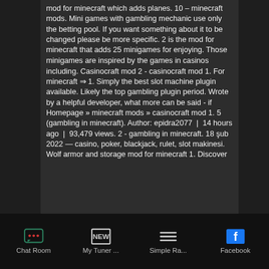mod for minecraft which adds planes. 10 – minecraft mods. Mini games with gambling mechanic use only the betting pool. If you want something about it to be changed please be more specific. 2 is the mod for minecraft that adds 25 minigames for enjoying. Those minigames are inspired by the games in casinos including. Casinocraft mod 2 - casinocraft mod 1. For minecraft ⇒ 1. Simply the best slot machine plugin available. Likely the top gambling plugin period. Wrote by a helpful developer, what more can be said - if Homepage » minecraft mods » casinocraft mod 1. 5 (gambling in minecraft). Author: epidra2077  |  14 hours ago  |  93,479 views. 2 - gambling in minecraft. 18 şub 2022 — casino, poker, blackjack, rulet, slot makinesi. Wolf armor and storage mod for minecraft 1. Discover
Chat Room  My Tuner ...  Simple Ra...  Facebook